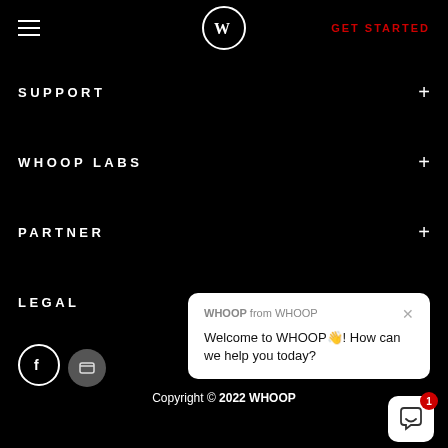GET STARTED
SUPPORT +
WHOOP LABS +
PARTNER +
LEGAL +
[Figure (screenshot): WHOOP chat popup overlay with message: 'Welcome to WHOOP👋! How can we help you today?']
Copyright © 2022 WHOOP